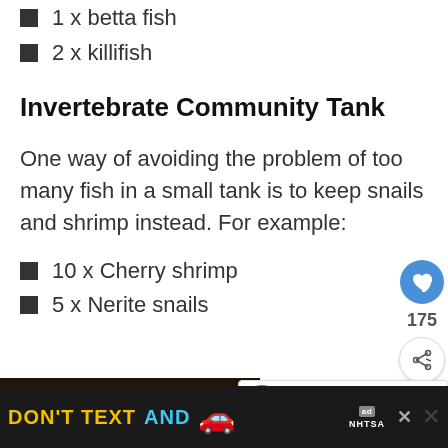1 x betta fish
2 x killifish
Invertebrate Community Tank
One way of avoiding the problem of too many fish in a small tank is to keep snails and shrimp instead. For example:
10 x Cherry shrimp
5 x Nerite snails
[Figure (photo): Dark underwater or aquarium scene with dark wood and some greenish plant visible]
[Figure (infographic): Black ad banner reading DON'T TEXT AND with car emoji, ad badge and NHTSA logo]